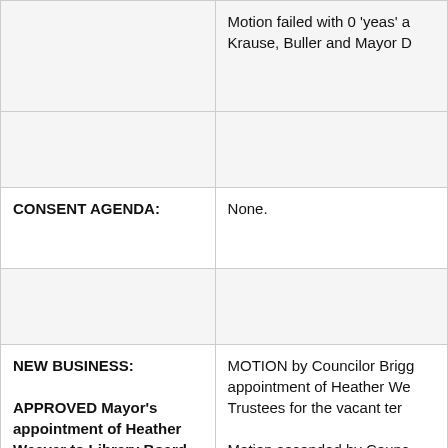|  | Motion failed with 0 'yeas' a Krause, Buller and Mayor D |
|  |  |
| CONSENT AGENDA: | None. |
|  |  |
| NEW BUSINESS:

APPROVED Mayor's appointment of Heather Weaver to Library Board of Trustees for vacant term expiring December 31, 2020 | MOTION by Councilor Brigg appointment of Heather We Trustees for the vacant ter

Motion seconded by Counc unanimously. |
|  |  |